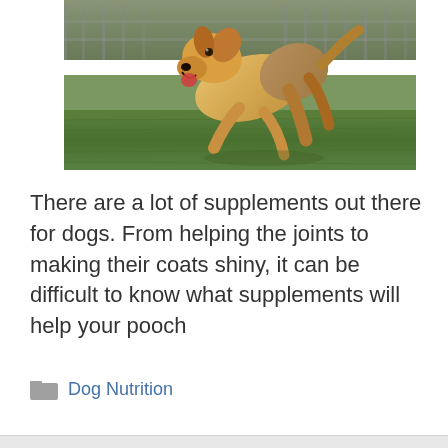[Figure (photo): A golden/yellow Labrador dog running and jumping on a green grass field, with a fence visible in the background. The dog appears joyful with its mouth open.]
There are a lot of supplements out there for dogs. From helping the joints to making their coats shiny, it can be difficult to know what supplements will help your pooch
Dog Nutrition